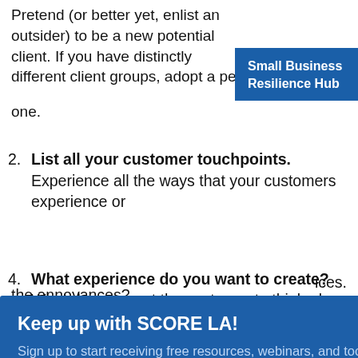Pretend (or better yet, enlist an outsider) to be a new potential client. If you have distinctly different client groups, adopt a persona for each one.
List all your customer touchpoints. Experience all the ways that your customers experience or interact with your products or services.
[Figure (other): Blue 'Small Business Resilience Hub' banner in top right corner]
[Figure (infographic): Modal popup overlay: 'Keep up with SCORE LA!' with sign-up form for email address and SUBMIT button, and an X close button]
What experience do you want to create? What do you want the customer to think, do and feel at each touchpoint? How do you want your brand to